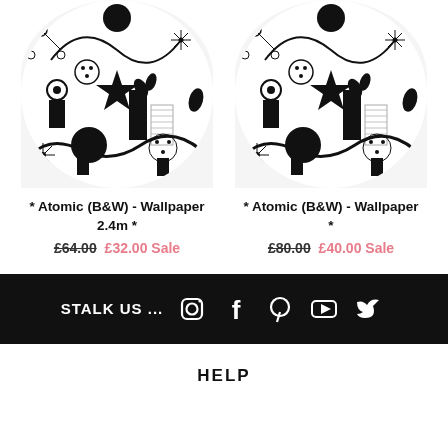[Figure (illustration): Black and white atomic style wallpaper pattern with mid-century modern motifs: stars, flowers, orbs, molecules, geometric shapes. Circular/dome cropped top image - left product.]
* Atomic (B&W) - Wallpaper 2.4m *
£64.00 £32.00 Sale
[Figure (illustration): Black and white atomic style wallpaper pattern with mid-century modern motifs: stars, flowers, orbs, molecules, geometric shapes. Circular/dome cropped top image - right product.]
* Atomic (B&W) - Wallpaper *
£80.00 £40.00 Sale
STALK US ...
[Figure (logo): Social media icons: Instagram, Facebook, Pinterest, YouTube, Twitter - white on black background]
HELP